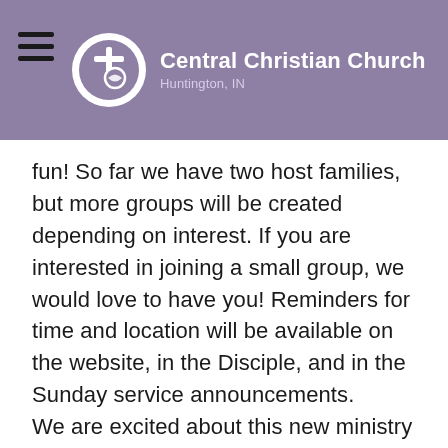Central Christian Church Huntington, IN
fun! So far we have two host families, but more groups will be created depending on interest. If you are interested in joining a small group, we would love to have you! Reminders for time and location will be available on the website, in the Disciple, and in the Sunday service announcements.
We are excited about this new ministry and hope that you will join us!